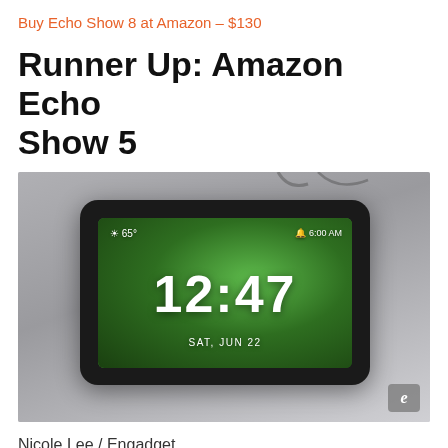Buy Echo Show 8 at Amazon – $130
Runner Up: Amazon Echo Show 5
[Figure (photo): Amazon Echo Show 5 device sitting on a table surface. The device has a small rectangular screen displaying a green leafy background with the time 12:47 in large white digits, date SAT, JUN 22, weather 65°, and alarm 6:00 AM. An Engadget logo badge appears in the lower right corner.]
Nicole Lee / Engadget